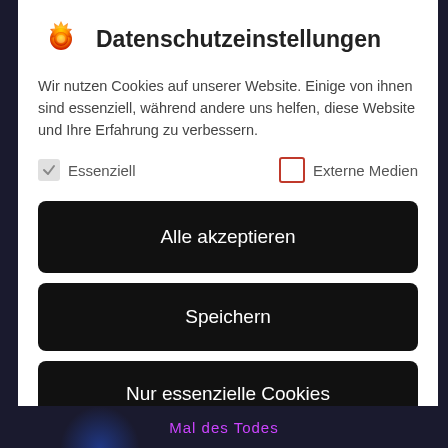Datenschutzeinstellungen
Wir nutzen Cookies auf unserer Website. Einige von ihnen sind essenziell, während andere uns helfen, diese Website und Ihre Erfahrung zu verbessern.
Essenziell (checked)
Externe Medien (unchecked)
Alle akzeptieren
Speichern
Nur essenzielle Cookies akzeptieren
Individuelle Datenschutzeinstellungen
Cookie-Details | Datenschutzerklärung | Impressum
Mal des Todes